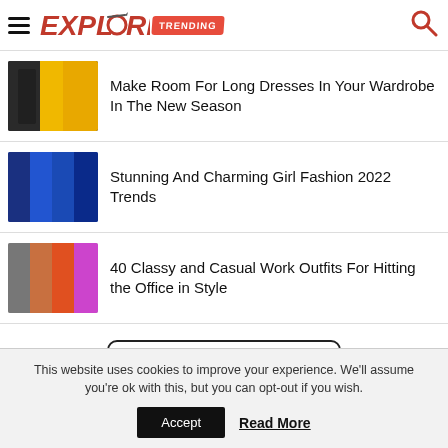Explore Trending
Make Room For Long Dresses In Your Wardrobe In The New Season
Stunning And Charming Girl Fashion 2022 Trends
40 Classy and Casual Work Outfits For Hitting the Office in Style
CLICK TO COMMENT
This website uses cookies to improve your experience. We'll assume you're ok with this, but you can opt-out if you wish.
Accept   Read More